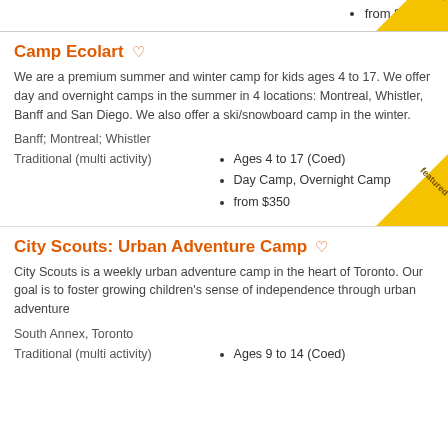from $2,995
Camp Ecolart
We are a premium summer and winter camp for kids ages 4 to 17. We offer day and overnight camps in the summer in 4 locations: Montreal, Whistler, Banff and San Diego. We also offer a ski/snowboard camp in the winter.
Banff; Montreal; Whistler
Traditional (multi activity)
Ages 4 to 17 (Coed)
Day Camp, Overnight Camp
from $350
City Scouts: Urban Adventure Camp
City Scouts is a weekly urban adventure camp in the heart of Toronto. Our goal is to foster growing children's sense of independence through urban adventure
South Annex, Toronto
Traditional (multi activity)
Ages 9 to 14 (Coed)